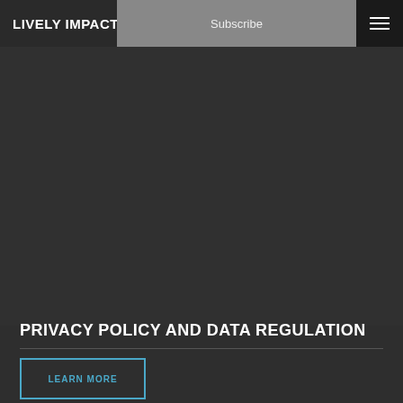LIVELY IMPACT | Subscribe
[Figure (other): Dark background content area, large empty space]
PRIVACY POLICY AND DATA REGULATION
LEARN MORE